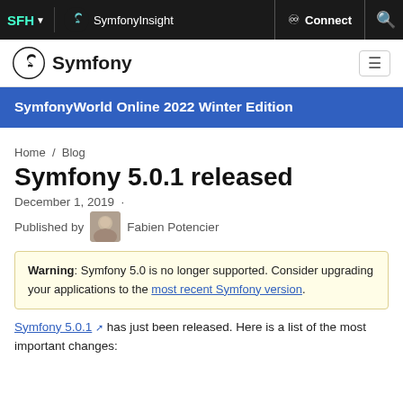SFH ▼  SymfonyInsight  Connect  🔍
Symfony
SymfonyWorld Online 2022 Winter Edition
Home / Blog
Symfony 5.0.1 released
December 1, 2019 · Published by Fabien Potencier
Warning: Symfony 5.0 is no longer supported. Consider upgrading your applications to the most recent Symfony version.
Symfony 5.0.1 has just been released. Here is a list of the most important changes: